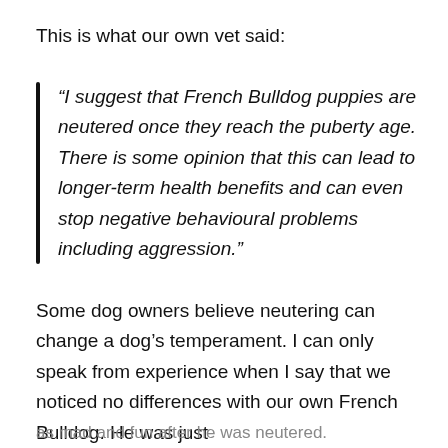This is what our own vet said:
“I suggest that French Bulldog puppies are neutered once they reach the puberty age. There is some opinion that this can lead to longer-term health benefits and can even stop negative behavioural problems including aggression.”
Some dog owners believe neutering can change a dog’s temperament. I can only speak from experience when I say that we noticed no differences with our own French Bulldog. He was just as mad and fun after he was neutered.